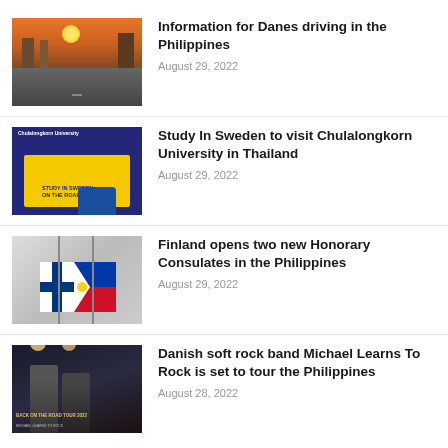[Figure (photo): City highway aerial view at sunset with cars and buildings]
Information for Danes driving in the Philippines
August 29, 2022
[Figure (photo): Study In Sweden on the Road promotional poster with Thailand map]
Study In Sweden to visit Chulalongkorn University in Thailand
August 29, 2022
[Figure (photo): Finnish and Philippine flags on a desk]
Finland opens two new Honorary Consulates in the Philippines
August 29, 2022
[Figure (photo): Michael Learns To Rock band promotional tour poster]
Danish soft rock band Michael Learns To Rock is set to tour the Philippines
August 28, 2022